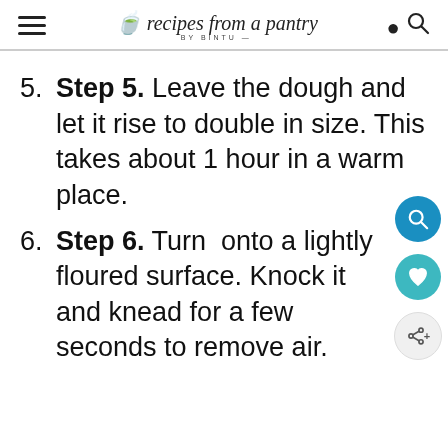recipes from a pantry BY BINTU
Step 5. Leave the dough and let it rise to double in size. This takes about 1 hour in a warm place.
Step 6. Turn onto a lightly floured surface. Knock it and knead for a few seconds to remove air.